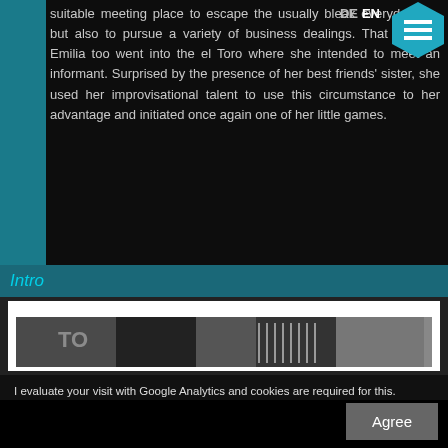suitable meeting place to escape the usually bleak everyday life, but also to pursue a variety of business dealings. That evening Emilia too went into the el Toro where she intended to meet an informant. Surprised by the presence of her best friends' sister, she used her improvisational talent to use this circumstance to her advantage and initiated once again one of her little games.
Intro
[Figure (photo): Black and white photograph strip showing what appears to be a street or vehicle scene]
I evaluate your visit with Google Analytics and cookies are required for this. Please agree to the use of cookies. Data protection declaration
Data protection declaration